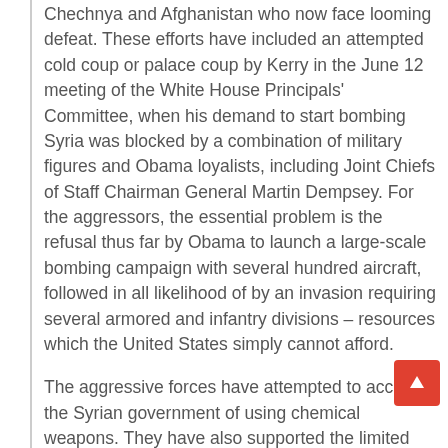Chechnya and Afghanistan who now face looming defeat. These efforts have included an attempted cold coup or palace coup by Kerry in the June 12 meeting of the White House Principals' Committee, when his demand to start bombing Syria was blocked by a combination of military figures and Obama loyalists, including Joint Chiefs of Staff Chairman General Martin Dempsey. For the aggressors, the essential problem is the refusal thus far by Obama to launch a large-scale bombing campaign with several hundred aircraft, followed in all likelihood of by an invasion requiring several armored and infantry divisions – resources which the United States simply cannot afford.
The aggressive forces have attempted to accuse the Syrian government of using chemical weapons. They have also supported the limited hangout around purported NSA leaker Edward Snowden, whose short